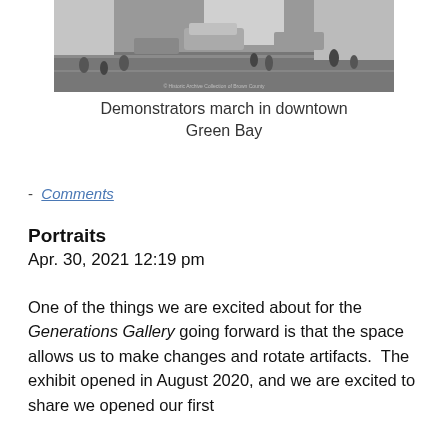[Figure (photo): Black and white aerial photograph of demonstrators marching in downtown Green Bay, showing cars and people on a street]
Demonstrators march in downtown Green Bay
- Comments
Portraits
Apr. 30, 2021 12:19 pm
One of the things we are excited about for the Generations Gallery going forward is that the space allows us to make changes and rotate artifacts.  The exhibit opened in August 2020, and we are excited to share we opened our first